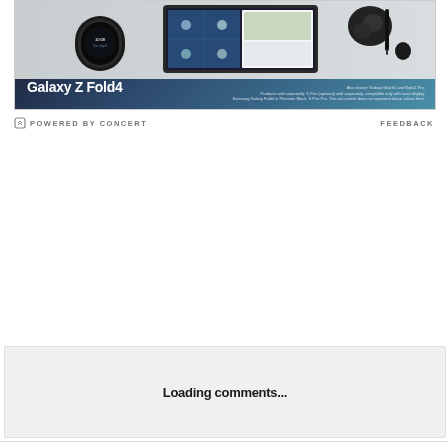[Figure (screenshot): Samsung Galaxy Z Fold4 advertisement banner showing the device alongside a Galaxy Watch and earbuds, with people on a video call visible on the foldable screen. Text reads 'Galaxy Z Fold4'. Small disclaimer text on right side.]
POWERED BY CONCERT    FEEDBACK
Loading comments...